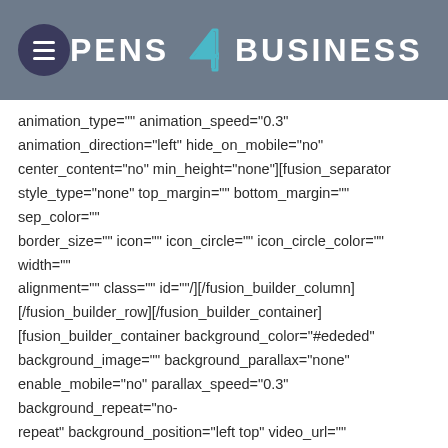PENS 4 BUSINESS
animation_type="" animation_speed="0.3" animation_direction="left" hide_on_mobile="no" center_content="no" min_height="none"][fusion_separator style_type="none" top_margin="" bottom_margin="" sep_color="" border_size="" icon="" icon_circle="" icon_circle_color="" width="" alignment="" class="" id=""/][/fusion_builder_column][/fusion_builder_row][/fusion_builder_container][fusion_builder_container background_color="#ededed" background_image="" background_parallax="none" enable_mobile="no" parallax_speed="0.3" background_repeat="no-repeat" background_position="left top" video_url="" video_aspect_ratio="16:9" video_webm="" video_mp4="" video_ogv="" video_preview_image="" overlay_color="" overlay_opacity="0.5" video_mute="yes" video_loop="yes" fade="no" border_size="0px" border_color="" border_style="solid" padding_top="20" padding_bottom="20" padding_left="" padding_right="" hundred_percent="no"